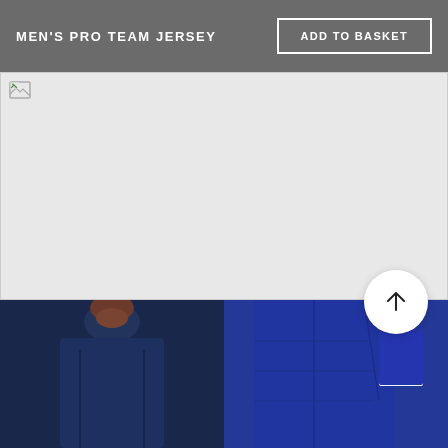MEN'S PRO TEAM JERSEY
ADD TO BASKET
[Figure (photo): Main product image area — large light grey placeholder with broken image icon in top-left corner]
[Figure (photo): Left thumbnail: close-up of dark navy cycling jersey zip/collar area on a person]
[Figure (photo): Right thumbnail: close-up of dark navy/blue cycling jersey sleeve with white band detail]